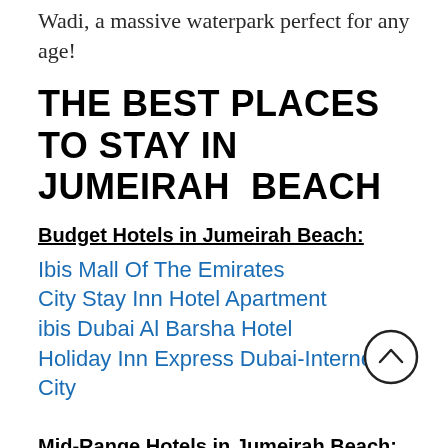Wadi, a massive waterpark perfect for any age!
THE BEST PLACES TO STAY IN JUMEIRAH BEACH
Budget Hotels in Jumeirah Beach:
Ibis Mall Of The Emirates
City Stay Inn Hotel Apartment
ibis Dubai Al Barsha Hotel
Holiday Inn Express Dubai-Internet City
Mid-Range Hotels in Jumeirah Beach:
The Marriott Beach Hotel...